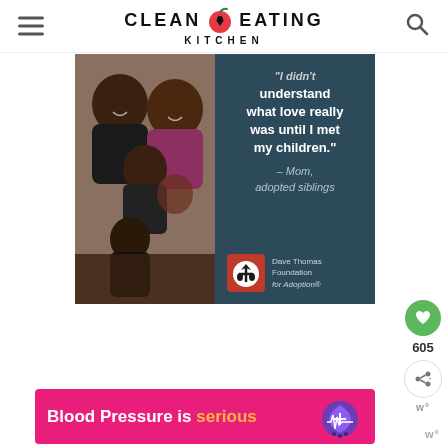CLEAN EATING KITCHEN
[Figure (photo): Advertisement for Dave Thomas Foundation for Adoption showing a happy Black family (father, mother, and two daughters) on the left half, and on the right a dark teal panel with a quote: 'I didn't understand what love really was until I met my children.' — Mom, adopted siblings, with the Dave Thomas Foundation for Adoption logo.]
[Figure (infographic): Pink banner ad reading 'Blood Pressure is serious' with a purple heart icon.]